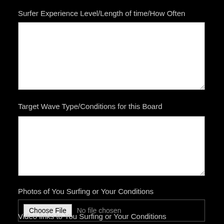Surfer Experience Level/Length of time/How Often
[Figure (other): Empty white textarea input field for surfer experience level]
Target Wave Type/Conditions for this Board
[Figure (other): Empty white textarea input field for target wave type/conditions]
Photos of You Surfing or Your Conditions
[Figure (other): File input with Choose File button and 'No file chosen' text]
Video links to You Surfing or Your Conditions